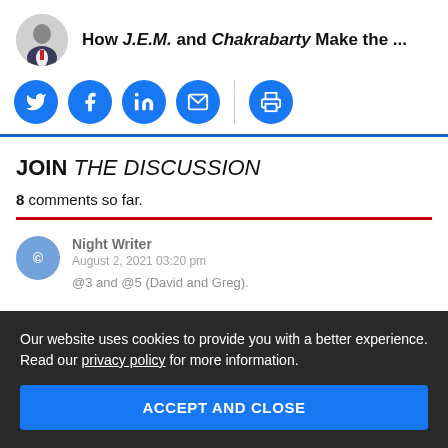How J.E.M. and Chakrabarty Make the ...
[Figure (other): Social share icons: Twitter, Facebook, LinkedIn, Email, Print]
JOIN THE DISCUSSION
8 comments so far.
Night Writer
August 2, 2021 03:20 pm
@3 and @5 (David and Greg).
Our website uses cookies to provide you with a better experience. Read our privacy policy for more information.
ACCEPT AND CLOSE